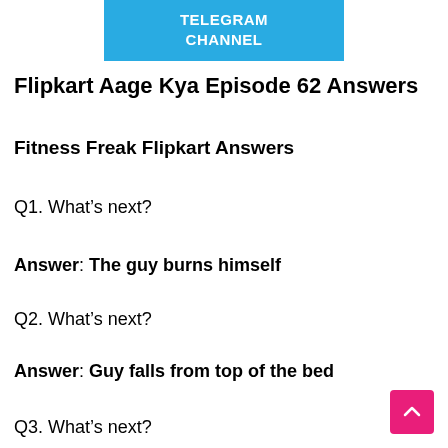[Figure (other): Blue Telegram Channel button/banner at top center]
Flipkart Aage Kya Episode 62 Answers
Fitness Freak Flipkart Answers
Q1. What’s next?
Answer: The guy burns himself
Q2. What’s next?
Answer: Guy falls from top of the bed
Q3. What’s next?